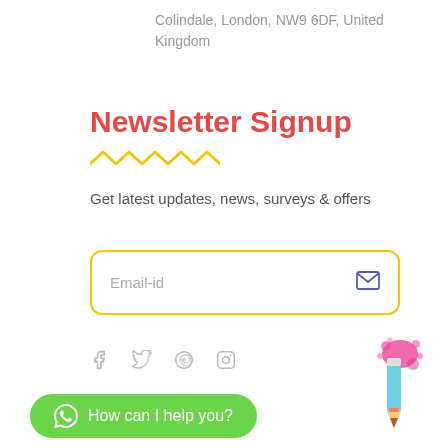Colindale, London, NW9 6DF, United Kingdom
Newsletter Signup
Get latest updates, news, surveys & offers
Email-id
[Figure (other): Social media icons: Facebook, Twitter, Pinterest, Instagram]
How can I help you?
[Figure (illustration): Pencil with pink ink splash illustration]